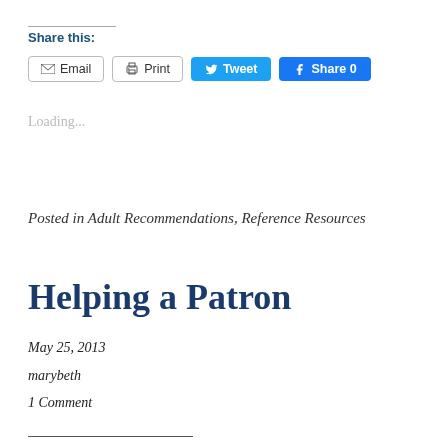Share this:
Email  Print  Tweet  Share 0
Loading...
Posted in Adult Recommendations, Reference Resources
Helping a Patron
May 25, 2013
marybeth
1 Comment